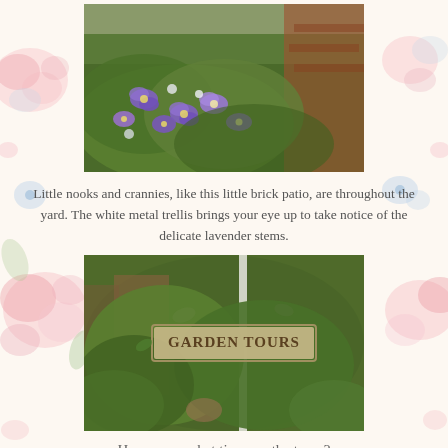[Figure (photo): Photograph of purple pansy flowers and green foliage in a garden with a brick patio visible]
Little nooks and crannies, like this little brick patio, are throughout the yard. The white metal trellis brings your eye up to take notice of the delicate lavender stems.
[Figure (photo): Photograph of a Garden Tours sign amid green bushes and foliage]
Hmmmm...what time are the tours?
[Figure (photo): Photograph of a yellow wicker chair with a stuffed animal or figure sitting in it]